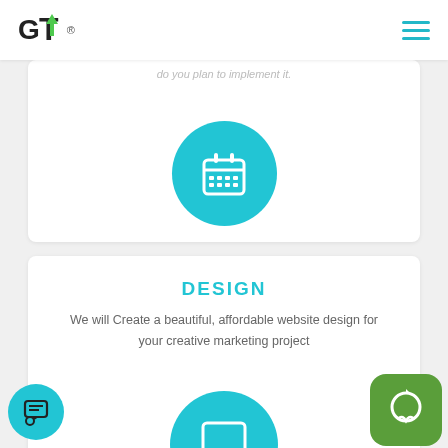[Figure (logo): GT logo with green upward arrow and registered trademark symbol, teal hamburger menu icon on right]
do you plan to implement it.
[Figure (illustration): Teal circle with white calendar icon]
DESIGN
We will Create a beautiful, affordable website design for your creative marketing project
[Figure (illustration): Teal circle with white laptop/computer icon]
[Figure (illustration): Teal circle with white chat/person icon bottom left]
[Figure (illustration): Green rounded square WhatsApp-style icon with white phone/chat symbol bottom right]